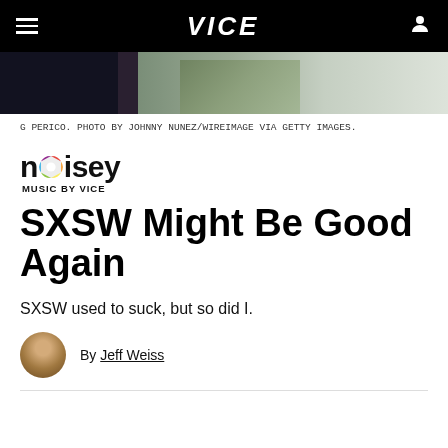VICE
[Figure (photo): Photo of G Perico, partial view showing two people, one in dark clothing, one in camouflage jacket and white shirt]
G PERICO. PHOTO BY JOHNNY NUNEZ/WIREIMAGE VIA GETTY IMAGES.
[Figure (logo): Noisey logo with colorful wheel replacing the 'o', text reads 'noisey' with 'MUSIC BY VICE' below]
SXSW Might Be Good Again
SXSW used to suck, but so did I.
By Jeff Weiss